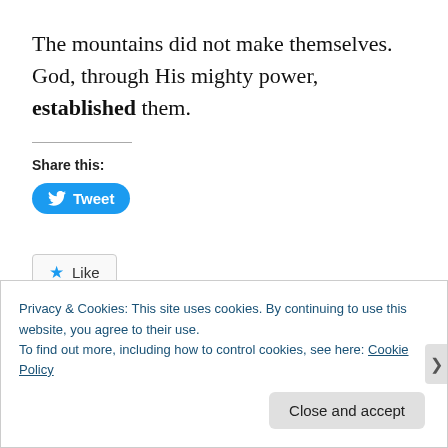The mountains did not make themselves. God, through His mighty power, established them.
Share this:
[Figure (other): Tweet button with Twitter bird icon]
[Figure (other): Like button with star icon]
Be the first to like this.
Privacy & Cookies: This site uses cookies. By continuing to use this website, you agree to their use. To find out more, including how to control cookies, see here: Cookie Policy